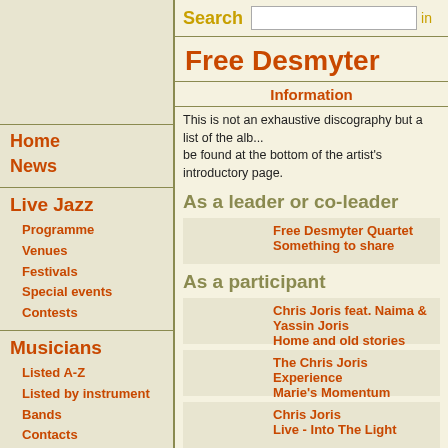Search
Free Desmyter
Information
This is not an exhaustive discography but a list of the alb... be found at the bottom of the artist's introductory page.
As a leader or co-leader
Free Desmyter Quartet
Something to share
As a participant
Chris Joris feat. Naima & Yassin Joris
Home and old stories
The Chris Joris Experience
Marie's Momentum
Chris Joris
Live - Into The Light
Chris Joris Experience
Out Of The Night
Home
News
Live Jazz
Programme
Venues
Festivals
Special events
Contests
Musicians
Listed A-Z
Listed by instrument
Bands
Contacts
Hall of Fame
Non-Belgian musicians
Interviews
Prizes and awards